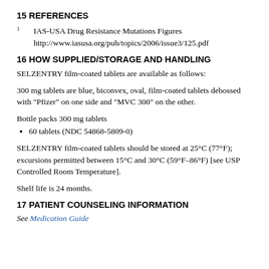15 REFERENCES
1  IAS-USA Drug Resistance Mutations Figures http://www.iasusa.org/pub/topics/2006/issue3/125.pdf
16 HOW SUPPLIED/STORAGE AND HANDLING
SELZENTRY film-coated tablets are available as follows:
300 mg tablets are blue, biconvex, oval, film-coated tablets debossed with "Pfizer" on one side and "MVC 300" on the other.
Bottle packs 300 mg tablets
60 tablets (NDC 54868-5809-0)
SELZENTRY film-coated tablets should be stored at 25°C (77°F); excursions permitted between 15°C and 30°C (59°F–86°F) [see USP Controlled Room Temperature].
Shelf life is 24 months.
17 PATIENT COUNSELING INFORMATION
See Medication Guide